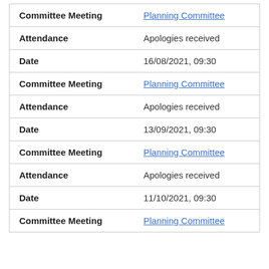| Field | Value |
| --- | --- |
| Committee Meeting | Planning Committee |
| Attendance | Apologies received |
| Date | 16/08/2021, 09:30 |
| Committee Meeting | Planning Committee |
| Attendance | Apologies received |
| Date | 13/09/2021, 09:30 |
| Committee Meeting | Planning Committee |
| Attendance | Apologies received |
| Date | 11/10/2021, 09:30 |
| Committee Meeting | Planning Committee |